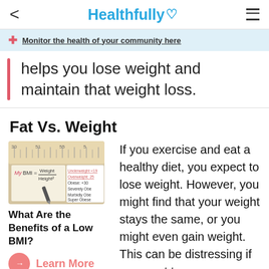< Healthfully ♡ ≡
Monitor the health of your community here
helps you lose weight and maintain that weight loss.
Fat Vs. Weight
[Figure (photo): Image of a measuring tape and BMI formula card with a pen, related to BMI calculation]
What Are the Benefits of a Low BMI?
Learn More
If you exercise and eat a healthy diet, you expect to lose weight. However, you might find that your weight stays the same, or you might even gain weight. This can be distressing if you want to